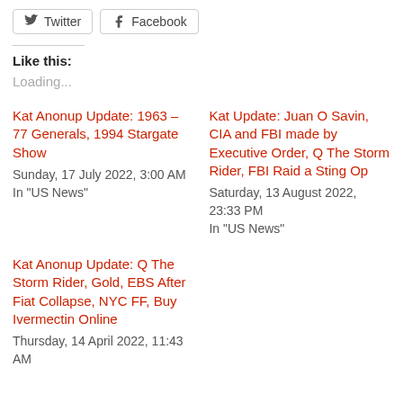[Figure (other): Social share buttons: Twitter and Facebook]
Like this:
Loading...
Kat Anonup Update: 1963 – 77 Generals, 1994 Stargate Show
Sunday, 17 July 2022, 3:00 AM
In "US News"
Kat Update: Juan O Savin, CIA and FBI made by Executive Order, Q The Storm Rider, FBI Raid a Sting Op
Saturday, 13 August 2022, 23:33 PM
In "US News"
Kat Anonup Update: Q The Storm Rider, Gold, EBS After Fiat Collapse, NYC FF, Buy Ivermectin Online
Thursday, 14 April 2022, 11:43 AM